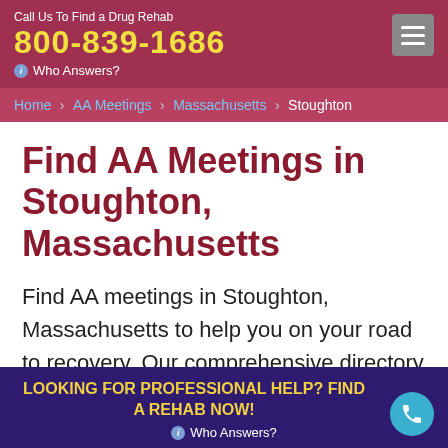Call Us To Find a Drug Rehab
800-839-1686
Who Answers?
Home › AA Meetings › Massachusetts › Stoughton
Find AA Meetings in Stoughton, Massachusetts
Find AA meetings in Stoughton, Massachusetts to help you on your road to recovery. Our comprehensive directory of AA meetings in Massachusetts includes open, closed, speaker, and other specialized meetings, all of which are
LOOKING FOR PROFESSIONAL HELP? FIND A REHAB NOW!
Who Answers?